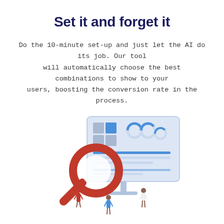Set it and forget it
Do the 10-minute set-up and just let the AI do its job. Our tool will automatically choose the best combinations to show to your users, boosting the conversion rate in the process.
[Figure (illustration): Isometric illustration of a large computer monitor displaying a dashboard with charts and grid elements, a large red magnifying glass overlapping it, and three small human figures standing around the monitor at the bottom.]